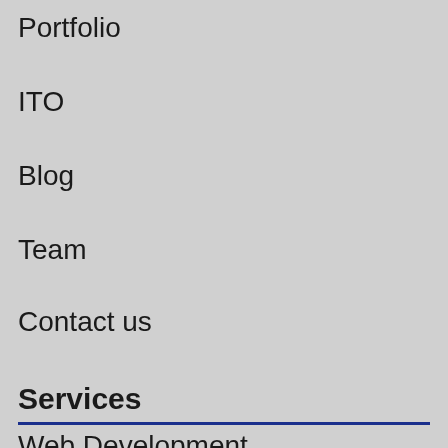Portfolio
ITO
Blog
Team
Contact us
Services
Web Development
Mobile App Development
Desktop App Development
Web/Graphic Design